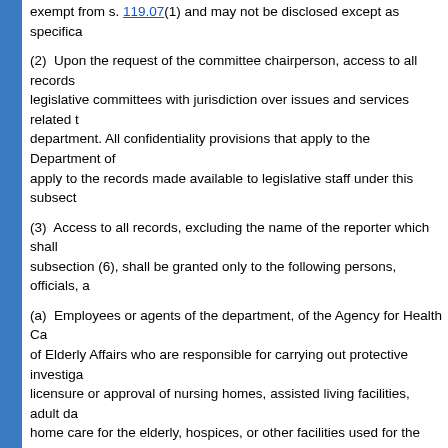exempt from s. 119.07(1) and may not be disclosed except as specifica...
(2)  Upon the request of the committee chairperson, access to all records... legislative committees with jurisdiction over issues and services related t... department. All confidentiality provisions that apply to the Department of... apply to the records made available to legislative staff under this subsect...
(3)  Access to all records, excluding the name of the reporter which shall... subsection (6), shall be granted only to the following persons, officials, a...
(a)  Employees or agents of the department, of the Agency for Health Ca... of Elderly Affairs who are responsible for carrying out protective investiga... licensure or approval of nursing homes, assisted living facilities, adult da... home care for the elderly, hospices, or other facilities used for the placem...
(b)  A criminal justice agency investigating a report of known or suspecte... vulnerable adult.
(c)  The state attorney of the judicial circuit in which the vulnerable adult... neglect, or exploitation occurred.
(d)  Any victim, the victim's guardian, caregiver, or legal counsel, and any... determined might be abusing, neglecting, or exploiting the victim.
(e)  A court, by subpoena, upon its finding that access to such records m... an issue before the court; however, such access must be limited to inspe...